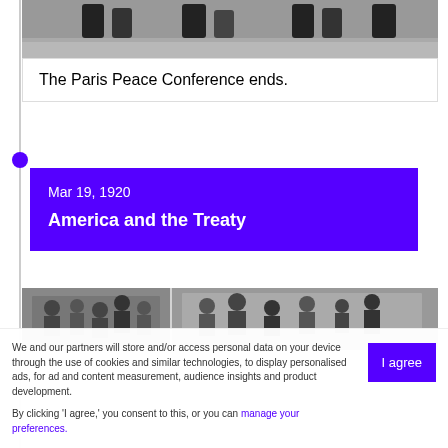[Figure (photo): Black and white historical photo showing legs and feet of people standing, cropped at top]
The Paris Peace Conference ends.
Mar 19, 1920
America and the Treaty
[Figure (photo): Black and white historical photo showing groups of people in formal settings, split into two panels]
We and our partners will store and/or access personal data on your device through the use of cookies and similar technologies, to display personalised ads, for ad and content measurement, audience insights and product development.
By clicking 'I agree,' you consent to this, or you can manage your preferences.